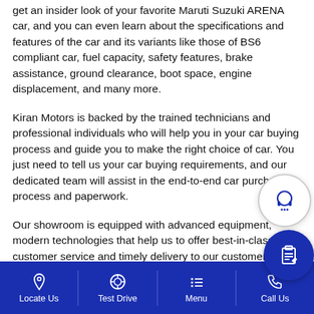get an insider look of your favorite Maruti Suzuki ARENA car, and you can even learn about the specifications and features of the car and its variants like those of BS6 compliant car, fuel capacity, safety features, brake assistance, ground clearance, boot space, engine displacement, and many more.
Kiran Motors is backed by the trained technicians and professional individuals who will help you in your car buying process and guide you to make the right choice of car. You just need to tell us your car buying requirements, and our dedicated team will assist in the end-to-end car purchase process and paperwork.
Our showroom is equipped with advanced equipment, modern technologies that help us to offer best-in-class customer service and timely delivery to our customers. We strive to make your car buying experience a joyous jour...
[Figure (screenshot): Chat support icon (headset with speech bubble) - circular button with white background and grey border]
[Figure (screenshot): Clipboard/form icon - circular dark blue button]
Locate Us   Test Drive   Menu   Call Us